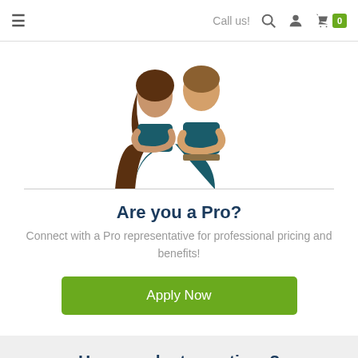≡  Call us!  🔍  👤  🛒 0
[Figure (photo): Two smiling professionals (a woman and a man) standing with arms crossed, wearing dark teal shirts, shown from waist up against a white background]
Are you a Pro?
Connect with a Pro representative for professional pricing and benefits!
Apply Now
Have product questions?
We're here to help!
[Figure (illustration): Phone icon and email envelope icon]